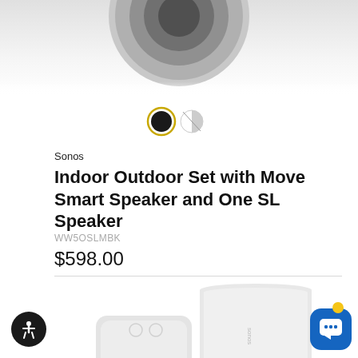[Figure (photo): Top portion of a dark Sonos speaker product shot (cropped, circular form visible at top)]
[Figure (other): Two color swatches: black (selected, with gold ring) and half-black half-white]
Sonos
Indoor Outdoor Set with Move Smart Speaker and One SL Speaker
WW5OSLMBK
$598.00
[Figure (photo): Two white Sonos speakers side by side — a smaller One SL (front/left) and a taller Move smart speaker (back/right)]
[Figure (other): Accessibility icon button (black circle with white person icon)]
[Figure (other): Chat support button (blue rounded square with white chat bubble icon and yellow notification dot)]